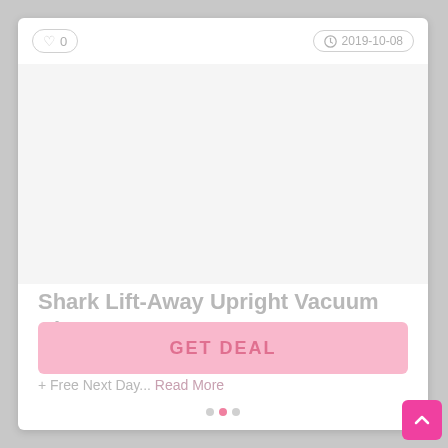♡ 0   🕐 2019-10-08
[Figure (photo): Product image area (blank/loading) for Shark Lift-Away Upright Vacuum Cleaner]
Shark Lift-Away Upright Vacuum Clean...
Shark Clean Was £269.99 – Now Only £159.99 Save £110 + Free Next Day... Read More
GET DEAL